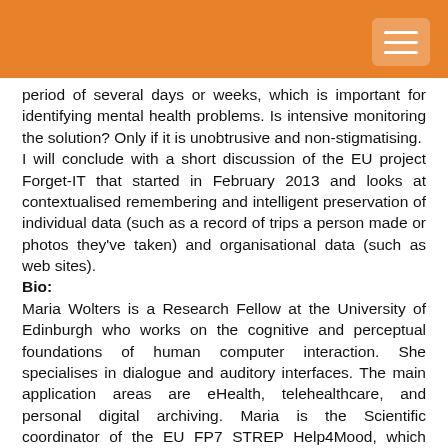period of several days or weeks, which is important for identifying mental health problems. Is intensive monitoring the solution? Only if it is unobtrusive and non-stigmatising.
I will conclude with a short discussion of the EU project Forget-IT that started in February 2013 and looks at contextualised remembering and intelligent preservation of individual data (such as a record of trips a person made or photos they've taken) and organisational data (such as web sites).
Bio:
Maria Wolters is a Research Fellow at the University of Edinburgh who works on the cognitive and perceptual foundations of human computer interaction. She specialises in dialogue and auditory interfaces. The main application areas are eHealth, telehealthcare, and personal digital archiving. Maria is the Scientific coordinator of the EU FP7 STREP Help4Mood, which supports the treatment of people with depression in the community, and is a researcher on the EU FP7 IP Forget-IT, which looks at sustainable digital archiving. She used to work on the EPSRC funded MultiMemoHome project, which finished in February